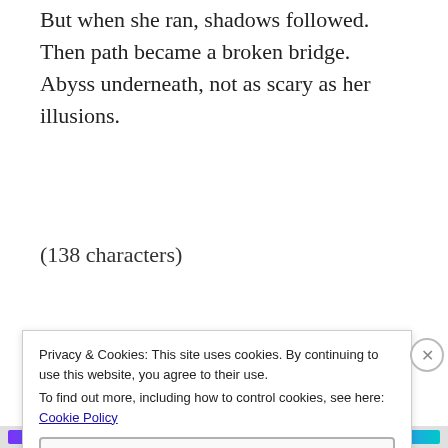But when she ran, shadows followed.
Then path became a broken bridge.
Abyss underneath, not as scary as her illusions.
(138 characters)
Posted in other writing
Privacy & Cookies: This site uses cookies. By continuing to use this website, you agree to their use.
To find out more, including how to control cookies, see here: Cookie Policy
Close and accept